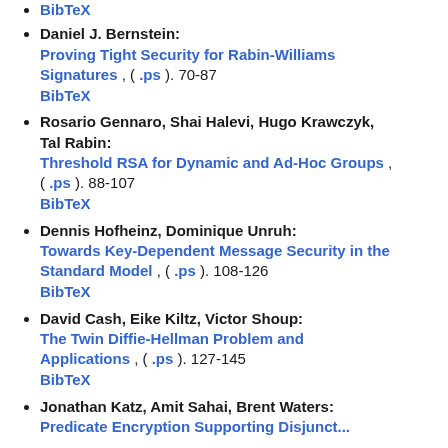BibTeX (link at top, clipped)
Daniel J. Bernstein: Proving Tight Security for Rabin-Williams Signatures , ( .ps ). 70-87 BibTeX
Rosario Gennaro, Shai Halevi, Hugo Krawczyk, Tal Rabin: Threshold RSA for Dynamic and Ad-Hoc Groups , ( .ps ). 88-107 BibTeX
Dennis Hofheinz, Dominique Unruh: Towards Key-Dependent Message Security in the Standard Model , ( .ps ). 108-126 BibTeX
David Cash, Eike Kiltz, Victor Shoup: The Twin Diffie-Hellman Problem and Applications , ( .ps ). 127-145 BibTeX
Jonathan Katz, Amit Sahai, Brent Waters: (title clipped)